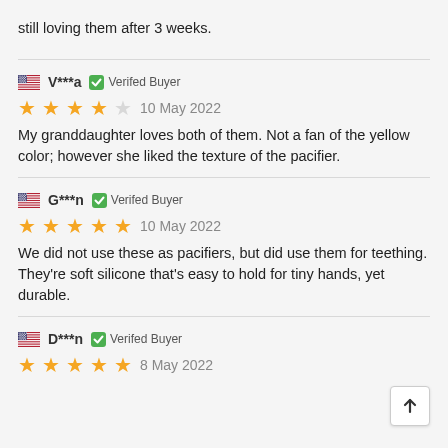still loving them after 3 weeks.
V***a   Verifed Buyer
★★★★☆  10 May 2022
My granddaughter loves both of them. Not a fan of the yellow color; however she liked the texture of the pacifier.
G***n   Verifed Buyer
★★★★★  10 May 2022
We did not use these as pacifiers, but did use them for teething. They're soft silicone that's easy to hold for tiny hands, yet durable.
D***n   Verifed Buyer
★★★★★  8 May 2022